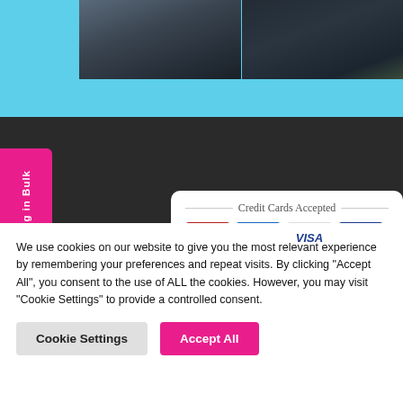[Figure (screenshot): Website screenshot showing a sky-blue banner with a dark photo strip (aerial/road imagery) and a dark band below containing a pink vertical tab labeled 'ying in Bulk' and a Credit Cards Accepted widget showing Mastercard, Maestro, Visa logos]
We use cookies on our website to give you the most relevant experience by remembering your preferences and repeat visits. By clicking “Accept All”, you consent to the use of ALL the cookies. However, you may visit "Cookie Settings" to provide a controlled consent.
Cookie Settings
Accept All